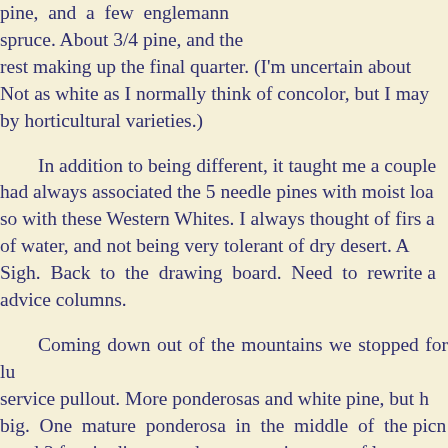pine, and a few englemann spruce. About 3/4 pine, and the rest making up the final quarter. (I'm uncertain about Not as white as I normally think of concolor, but I may by horticultural varieties.)
In addition to being different, it taught me a couple had always associated the 5 needle pines with moist loa so with these Western Whites. I always thought of firs a of water, and not being very tolerant of dry desert. A Sigh. Back to the drawing board. Need to rewrite a advice columns.
Coming down out of the mountains we stopped for lu service pullout. More ponderosas and white pine, but h big. One mature ponderosa in the middle of the picn good 3 feet in diameter, the top was just sort of lost And me without my camera. (The pic at right is from camera.)
I had decided to travel light on this trip. Should have and brought the camera.